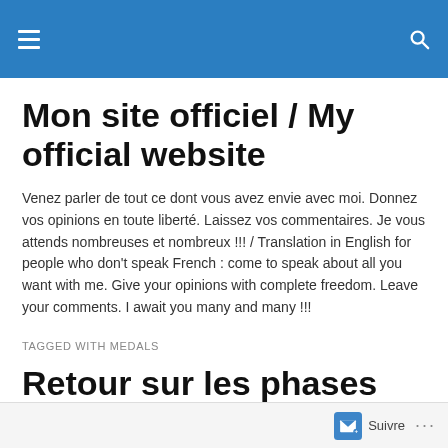Mon site officiel / My official website
Venez parler de tout ce dont vous avez envie avec moi. Donnez vos opinions en toute liberté. Laissez vos commentaires. Je vous attends nombreuses et nombreux !!! / Translation in English for people who don't speak French : come to speak about all you want with me. Give your opinions with complete freedom. Leave your comments. I await you many and many !!!
TAGGED WITH MEDALS
Retour sur les phases finales du Championnat...
Suivre